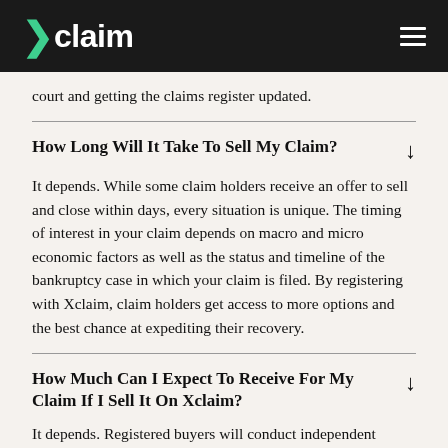Xclaim
court and getting the claims register updated.
How Long Will It Take To Sell My Claim?
It depends. While some claim holders receive an offer to sell and close within days, every situation is unique. The timing of interest in your claim depends on macro and micro economic factors as well as the status and timeline of the bankruptcy case in which your claim is filed. By registering with Xclaim, claim holders get access to more options and the best chance at expediting their recovery.
How Much Can I Expect To Receive For My Claim If I Sell It On Xclaim?
It depends. Registered buyers will conduct independent diligence on the value of the debtor's estate available for distribution and other factors that impact the recovery